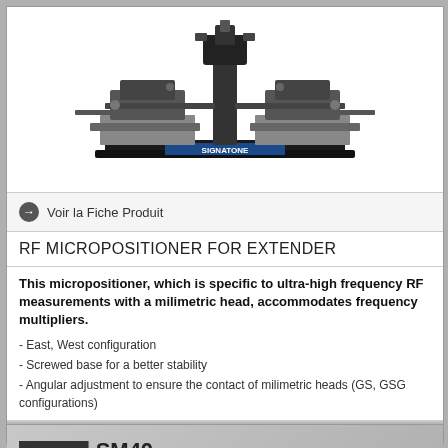[Figure (photo): RF Micropositioner for Extender equipment photograph showing a black precision instrument with two side platforms and a central vertical column with microscope-like attachment, labeled SIGNATONE at the base]
Voir la Fiche Produit
RF MICROPOSITIONER FOR EXTENDER
This micropositioner, which is specific to ultra-high frequency RF measurements with a milimetric head, accommodates frequency multipliers.

- East, West configuration
- Screwed base for a better stability
- Angular adjustment to ensure the contact of milimetric heads (GS, GSG configurations)
SM40